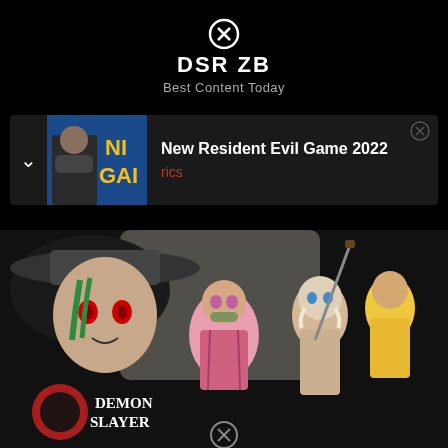DSR ZB
Best Content Today
[Figure (screenshot): Content card showing Resident Evil game thumbnail with text 'New Resident Evil Game 2022' and subtext 'rics' in red]
[Figure (illustration): Demon Slayer anime promotional artwork showing multiple characters including a demon with red eyes, Nezuko, and other main characters with the Demon Slayer logo visible at bottom]